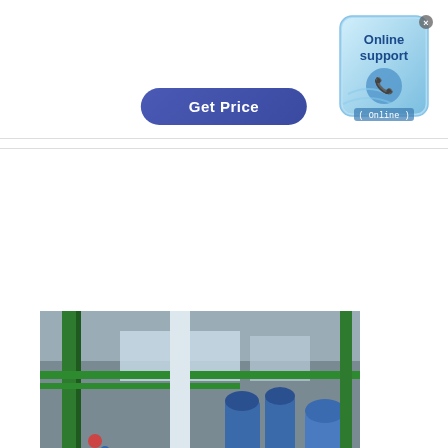[Figure (other): Blue rounded 'Get Price' button with white text on indigo/blue gradient background]
[Figure (illustration): Online support badge: light blue rounded square with phone icon, 'Online support' text and '(Online)' label at bottom]
[Figure (photo): Industrial hydrogenation plant interior showing white tanks, green and blue pipes, and industrial machinery]
[Figure (other): Orange scroll-to-top button with upward chevron arrow]
Fat and oil processing - Hydrogenation | Britannica